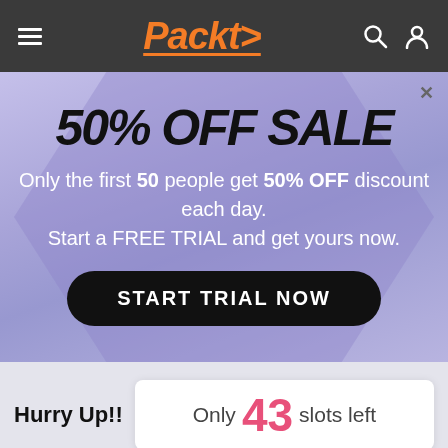Packt>
50% OFF SALE
Only the first 50 people get 50% OFF discount each day. Start a FREE TRIAL and get yours now.
START TRIAL NOW
Hurry Up!!
Only 43 slots left